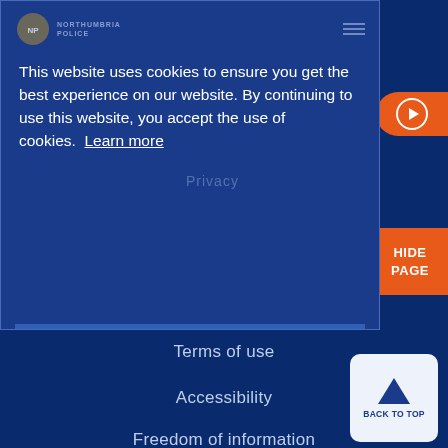[Figure (screenshot): Cookie consent banner overlay on Northumbria Police website with logo, hamburger menu, play button, and HIDE PAGE button. Blue background with white text.]
This website uses cookies to ensure you get the best experience on our website. By continuing to use this website, you accept the use of cookies.  Learn more
Terms of use
Accessibility
Freedom of information
Sitemap
[Figure (other): BACK TO TOP button with upward arrow on light blue-white rounded square]